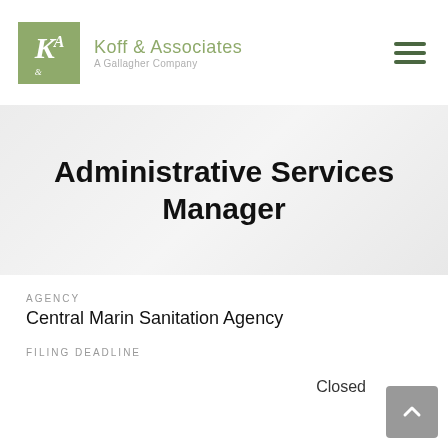[Figure (logo): Koff & Associates, A Gallagher Company logo with green KA monogram box]
Administrative Services Manager
AGENCY
Central Marin Sanitation Agency
FILING DEADLINE
Closed